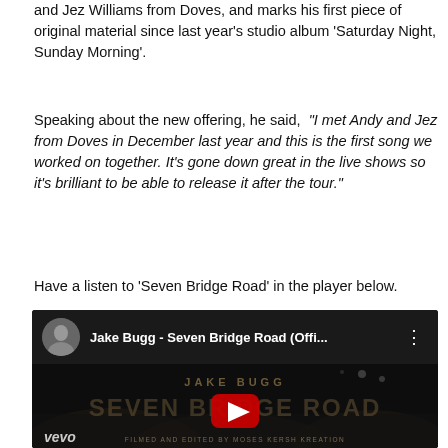and Jez Williams from Doves, and marks his first piece of original material since last year's studio album 'Saturday Night, Sunday Morning'.
Speaking about the new offering, he said, "I met Andy and Jez from Doves in December last year and this is the first song we worked on together. It's gone down great in the live shows so it's brilliant to be able to release it after the tour."
Have a listen to 'Seven Bridge Road' in the player below.
[Figure (screenshot): YouTube video embed showing Jake Bugg - Seven Bridge Road (Offi... with vevo branding, concert crowd background, and red play button overlay. Filmed and edited by Moses Kersh Kreation.]